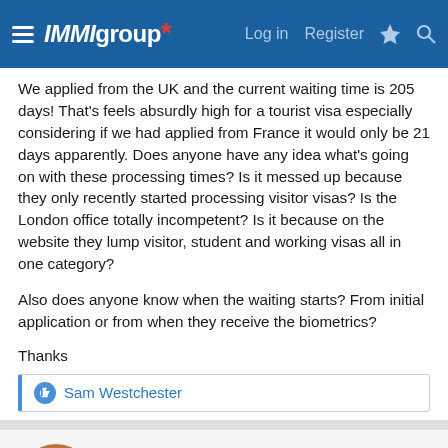IMMIgroup · Log in · Register
We applied from the UK and the current waiting time is 205 days! That's feels absurdly high for a tourist visa especially considering if we had applied from France it would only be 21 days apparently. Does anyone have any idea what's going on with these processing times? Is it messed up because they only recently started processing visitor visas? Is the London office totally incompetent? Is it because on the website they lump visitor, student and working visas all in one category?

Also does anyone know when the waiting starts? From initial application or from when they receive the biometrics?
Thanks
Sam Westchester
Sam Westchester
Member